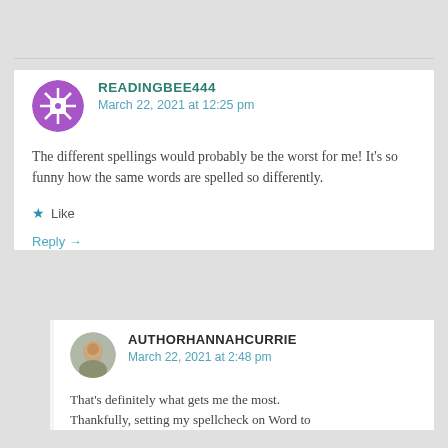READINGBEE444
March 22, 2021 at 12:25 pm
The different spellings would probably be the worst for me! It's so funny how the same words are spelled so differently.
Like
Reply →
AUTHORHANNAHCURRIE
March 22, 2021 at 2:48 pm
That's definitely what gets me the most. Thankfully, setting my spellcheck on Word to